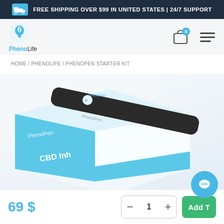FREE SHIPPING OVER $99 IN UNITED STATES | 24/7 SUPPORT
[Figure (logo): PhenoLife brand logo with leaf/head icon]
HOME / PHENOLIFE / PHENOPEN STARTER KIT
[Figure (photo): PhenoPen CBD Inhaler Starter Kit product box on white/light background, black vape pen resting on the box]
69 $
- 1 +
Add T